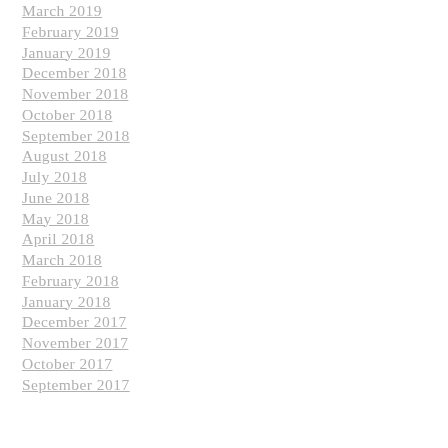March 2019
February 2019
January 2019
December 2018
November 2018
October 2018
September 2018
August 2018
July 2018
June 2018
May 2018
April 2018
March 2018
February 2018
January 2018
December 2017
November 2017
October 2017
September 2017